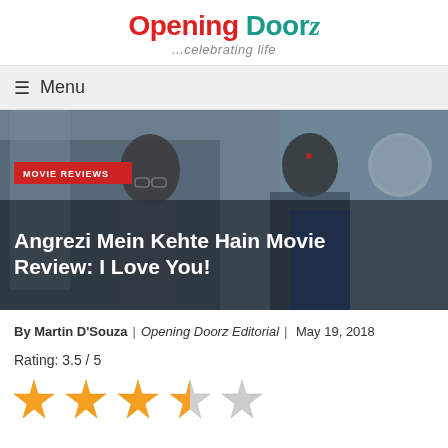Opening Doorz ...celebrating life
≡ Menu
[Figure (photo): Still from the movie 'Angrezi Mein Kehte Hain' showing a man with glasses and a woman in a saree in a fabric shop setting. Overlaid with 'MOVIE REVIEWS' badge and title text 'Angrezi Mein Kehte Hain Movie Review: I Love You!']
By Martin D'Souza | Opening Doorz Editorial | May 19, 2018
Rating: 3.5 / 5
[Figure (infographic): 5-star rating display showing 3 full gold stars, 1 half gold star, and 1 empty grey star representing a rating of 3.5 out of 5]